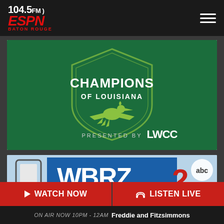104.5FM ESPN Baton Rouge
[Figure (logo): Champions of Louisiana presented by LWCC logo on green background with pelican emblem]
[Figure (logo): WBRZ 2 ABC logo with mobile phone graphic]
WATCH NOW
LISTEN LIVE
ON AIR NOW 10PM - 12AM  Freddie and Fitzsimmons